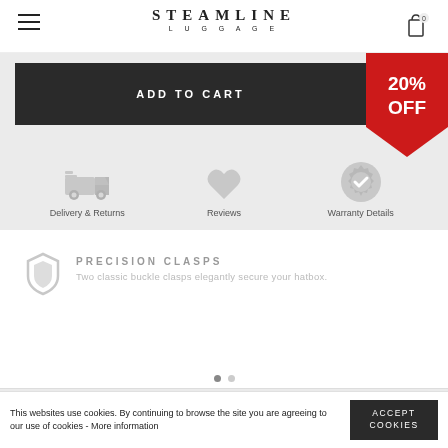STEAMLINE LUGGAGE
ADD TO CART
[Figure (infographic): Red ribbon banner with '20% OFF' text in white]
[Figure (infographic): Grey truck icon for Delivery & Returns]
Delivery & Returns
[Figure (infographic): Grey heart icon for Reviews]
Reviews
[Figure (infographic): Grey badge/checkmark icon for Warranty Details]
Warranty Details
[Figure (infographic): Grey shield icon for Precision Clasps feature]
PRECISION CLASPS
Two classic buckle clasps elegantly secure your hatbox.
ADD TO CART
This websites use cookies. By continuing to browse the site you are agreeing to our use of cookies - More information
ACCEPT COOKIES